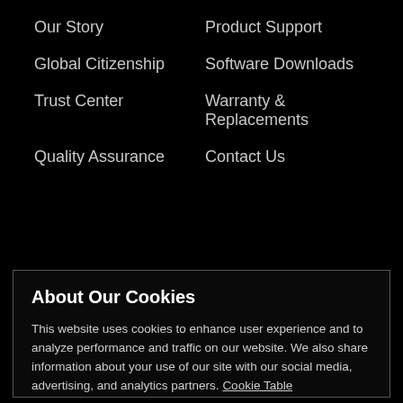Our Story
Product Support
Global Citizenship
Software Downloads
Trust Center
Warranty & Replacements
Quality Assurance
Contact Us
About Our Cookies
This website uses cookies to enhance user experience and to analyze performance and traffic on our website. We also share information about your use of our site with our social media, advertising, and analytics partners. Cookie Table
Accept Cookies
Reject All
Cookies Settings